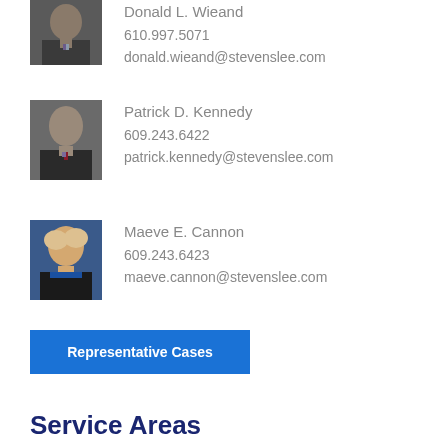[Figure (photo): Professional headshot of Donald L. Wieand, older male in suit]
Donald L. Wieand
610.997.5071
donald.wieand@stevenslee.com
[Figure (photo): Professional headshot of Patrick D. Kennedy, older male in suit with tie]
Patrick D. Kennedy
609.243.6422
patrick.kennedy@stevenslee.com
[Figure (photo): Professional headshot of Maeve E. Cannon, woman with blonde hair]
Maeve E. Cannon
609.243.6423
maeve.cannon@stevenslee.com
Representative Cases
Service Areas